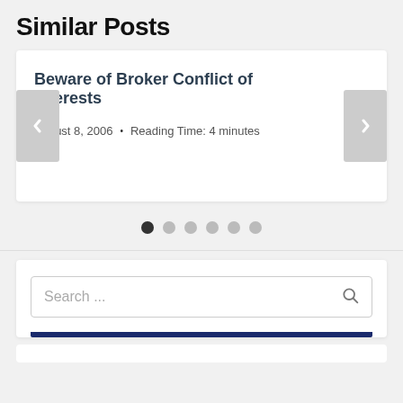Similar Posts
Beware of Broker Conflict of Interests
August 8, 2006  •  Reading Time: 4 minutes
[Figure (screenshot): Carousel navigation dots showing 6 dots, first one filled dark indicating current slide]
[Figure (screenshot): Search bar with placeholder text 'Search ...' and a search icon on the right, with a navy blue bar at the bottom]